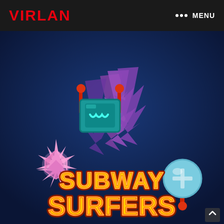VIRLAN   ••• MENU
[Figure (illustration): Subway Surfers game logo and characters on a dark blue background. Features a cartoon robot character with teal screen face and red antenna arms, a pink glowing gem/star burst on the left, a teal orb with a cross on the right, purple spiky hair-like shapes behind the robot, and the 'Subway Surfers' text logo in yellow and orange graffiti-style lettering at the bottom.]